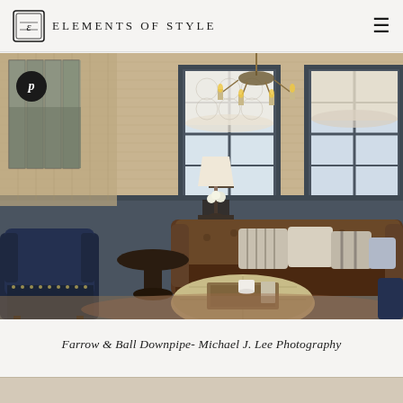ELEMENTS OF STYLE
[Figure (photo): Interior living room with dark gray wainscoting, grasscloth wallpaper, brown leather Chesterfield sofa with throw pillows, navy wingback chair, round ottoman, chandelier, and large landscape artwork panels on the wall. A round pedestal side table and table lamp are visible. Windows have Roman shades with geometric pattern.]
Farrow & Ball Downpipe- Michael J. Lee Photography
[Figure (photo): Partial view of another room at bottom of page]